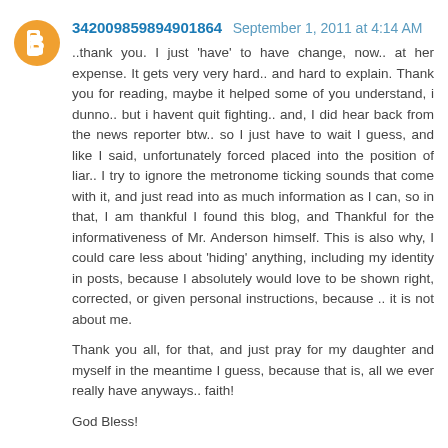342009859894901864  September 1, 2011 at 4:14 AM
..thank you. I just 'have' to have change, now.. at her expense. It gets very very hard.. and hard to explain. Thank you for reading, maybe it helped some of you understand, i dunno.. but i havent quit fighting.. and, I did hear back from the news reporter btw.. so I just have to wait I guess, and like I said, unfortunately forced placed into the position of liar.. I try to ignore the metronome ticking sounds that come with it, and just read into as much information as I can, so in that, I am thankful I found this blog, and Thankful for the informativeness of Mr. Anderson himself. This is also why, I could care less about 'hiding' anything, including my identity in posts, because I absolutely would love to be shown right, corrected, or given personal instructions, because .. it is not about me.

Thank you all, for that, and just pray for my daughter and myself in the meantime I guess, because that is, all we ever really have anyways.. faith!

God Bless!